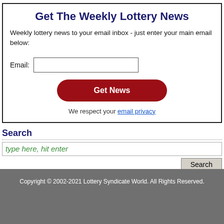Get The Weekly Lottery News
Weekly lottery news to your email inbox - just enter your main email below:
Email: [input field]
Get News [button]
We respect your email privacy
Search
type here, hit enter
Search [button]
Copyright © 2002-2021 Lottery Syndicate World. All Rights Reserved.